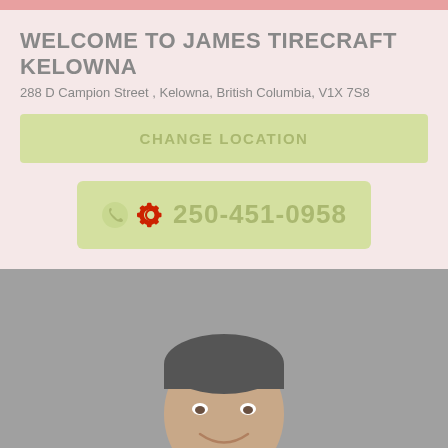WELCOME TO JAMES TIRECRAFT KELOWNA
288 D Campion Street , Kelowna, British Columbia, V1X 7S8
CHANGE LOCATION
250-451-0958
[Figure (photo): A smiling man wearing a dark Tirecraft jacket, shown from the waist up against a grey background.]